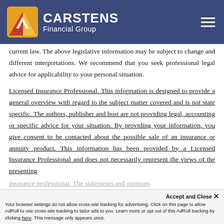Carstens Financial Group
current law. The above legislative information may be subject to change and different interpretations. We recommend that you seek professional legal advice for applicability to your personal situation.
Licensed Insurance Professional. This information is designed to provide a general overview with regard to the subject matter covered and is not state specific. The authors, publisher and host are not providing legal, accounting or specific advice for your situation. By providing your information, you give consent to be contacted about the possible sale of an insurance or annuity product. This information has been provided by a Licensed Insurance Professional and does not necessarily represent the views of the presenting insurance professional. The statements and opinions information is believed to be from reliable sources, however
Accept and Close ✕ Your browser settings do not allow cross-site tracking for advertising. Click on this page to allow AdRoll to use cross-site tracking to tailor ads to you. Learn more or opt out of this AdRoll tracking by clicking here. This message only appears once.